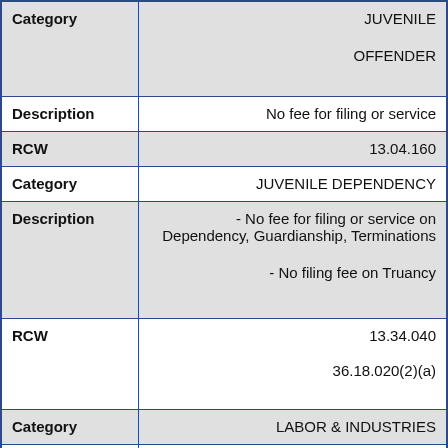| Field | Value |
| --- | --- |
| Category | JUVENILE
OFFENDER |
| Description | No fee for filing or service |
| RCW | 13.04.160 |
| Category | JUVENILE DEPENDENCY |
| Description | - No fee for filing or service on Dependency, Guardianship, Terminations
- No filing fee on Truancy |
| RCW | 13.34.040
36.18.020(2)(a) |
| Category | LABOR & INDUSTRIES |
| Description | No filing fee to file complaint to prosecute for collection of wage assignments |